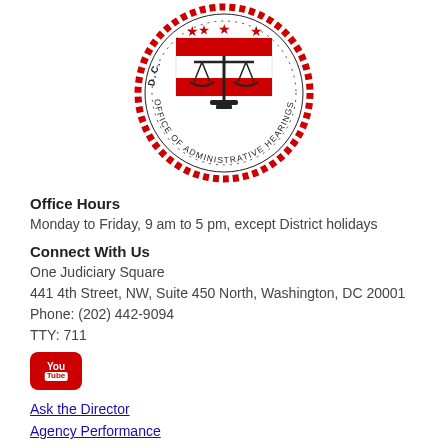[Figure (logo): DC Office of Administrative Hearings official seal — circular red and black seal with scales of justice and DC flag imagery]
Office Hours
Monday to Friday, 9 am to 5 pm, except District holidays
Connect With Us
One Judiciary Square
441 4th Street, NW, Suite 450 North, Washington, DC 20001
Phone: (202) 442-9094
TTY: 711
[Figure (logo): YouTube logo button — red rounded rectangle with 'You' and 'Tube' text in white]
Ask the Director
Agency Performance
Amharic (_)
Español (Spanish)
Simplified Chinese (_)